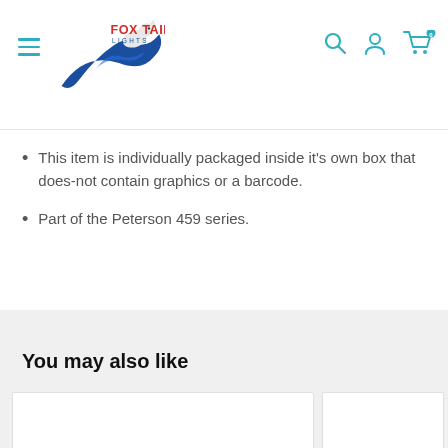Fox Tail Lights - navigation header with logo, hamburger menu, search, account, and cart icons
This item is individually packaged inside it's own box that does-not contain graphics or a barcode.
Part of the Peterson 459 series.
You may also like
[Figure (other): Product card placeholders in 'You may also like' section]